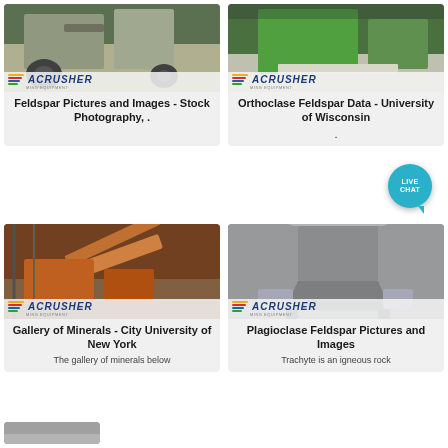[Figure (photo): Mining/industrial machine outdoors with ACRUSHER logo overlay - Feldspar Pictures card]
Feldspar Pictures and Images - Stock Photography, .
[Figure (photo): Green industrial machine indoors with ACRUSHER logo overlay and LIVE CHAT bubble - Orthoclase Feldspar card]
Orthoclase Feldspar Data - University of Wisconsin .
[Figure (photo): Orange mining/crushing equipment with ACRUSHER logo overlay - Gallery of Minerals card]
Gallery of Minerals - City University of New York
The gallery of minerals below
[Figure (photo): Grey industrial dust collection equipment with ACRUSHER logo overlay - Plagioclase Feldspar card]
Plagioclase Feldspar Pictures and Images
Trachyte is an igneous rock
[Figure (photo): Partial card at bottom left, industrial equipment]